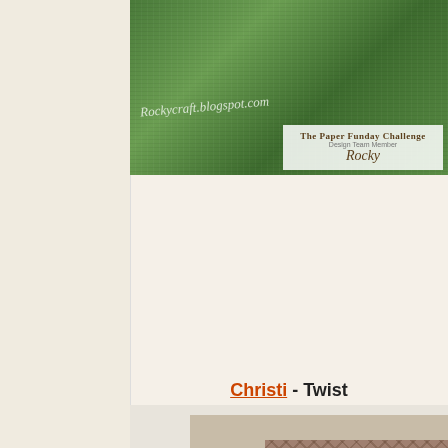[Figure (photo): Blog banner image with grass/outdoor background, blog URL 'Rockycraft.blogspot.com' and 'The Paper Funday Challenge Design Team Member Rocky' badge]
Christi - Twist
[Figure (photo): Handmade card with brown plaid/tartan background, 'hey you' die-cut script lettering in light blue, and a banner reading 'HOW YOU DOIN'?']